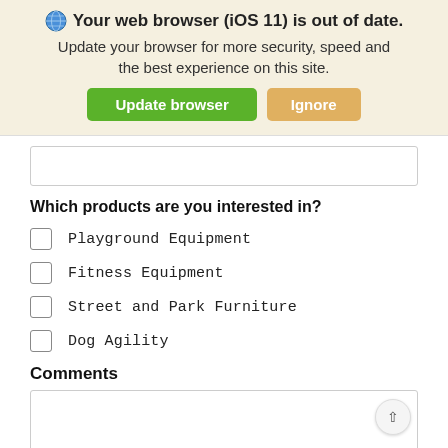[Figure (screenshot): Browser update notification banner with globe icon, bold title 'Your web browser (iOS 11) is out of date.', subtitle text, and two buttons: green 'Update browser' and tan 'Ignore']
Which products are you interested in?
Playground Equipment
Fitness Equipment
Street and Park Furniture
Dog Agility
Comments